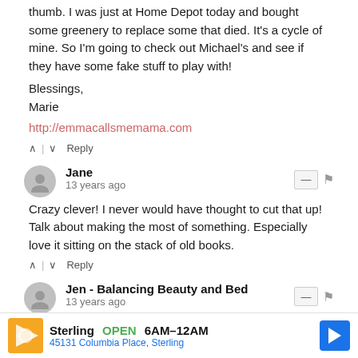thumb. I was just at Home Depot today and bought some greenery to replace some that died. It's a cycle of mine. So I'm going to check out Michael's and see if they have some fake stuff to play with!
Blessings,
Marie
http://emmacallsmemama.com
^ | v Reply
Jane
13 years ago
Crazy clever! I never would have thought to cut that up! Talk about making the most of something. Especially love it sitting on the stack of old books.
^ | v Reply
Jen - Balancing Beauty and Bed
13 years ago
hee heee - I love your frugal fakeness. :) Great post. Sorry about your st...
Sterling  OPEN  6AM–12AM
45131 Columbia Place, Sterling